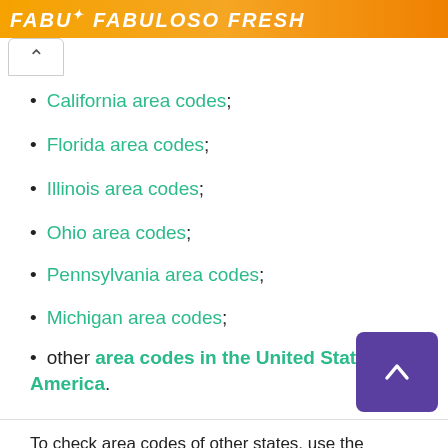[Figure (other): Orange advertisement banner for Fabuloso Fresh product]
California area codes;
Florida area codes;
Illinois area codes;
Ohio area codes;
Pennsylvania area codes;
Michigan area codes;
other area codes in the United States of America.
To check area codes of other states, use the Searcher of area codes by cities.